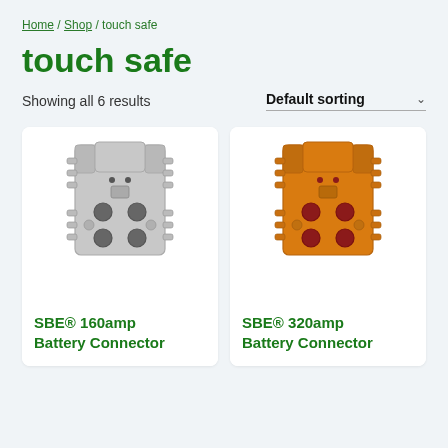Home / Shop / touch safe
touch safe
Showing all 6 results
Default sorting
[Figure (photo): Gray SBE battery connector, rectangular block shape with terminal holes and ridged sides]
SBE® 160amp Battery Connector
[Figure (photo): Orange SBE battery connector, rectangular block shape with terminal holes and ridged sides]
SBE® 320amp Battery Connector